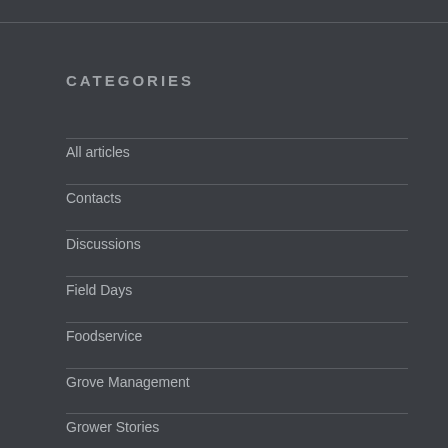CATEGORIES
All articles
Contacts
Discussions
Field Days
Foodservice
Grove Management
Grower Stories
Harvesting